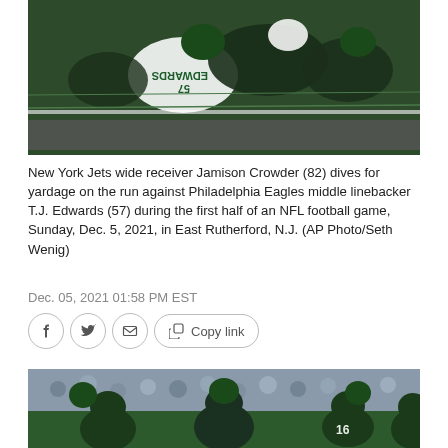[Figure (photo): NFL football game action photo showing New York Jets wide receiver Jamison Crowder (82) diving for yardage against Philadelphia Eagles middle linebacker T.J. Edwards (57) on the field.]
New York Jets wide receiver Jamison Crowder (82) dives for yardage on the run against Philadelphia Eagles middle linebacker T.J. Edwards (57) during the first half of an NFL football game, Sunday, Dec. 5, 2021, in East Rutherford, N.J. (AP Photo/Seth Wenig)
Dec. 05, 2021 01:58 PM EST
[Figure (photo): NFL football game photo showing players from the Philadelphia Eagles and New York Jets lined up on the field with crowd in background.]